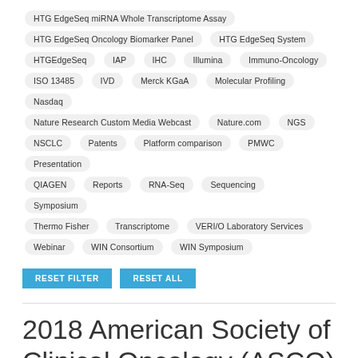HTG EdgeSeq miRNA Whole Transcriptome Assay
HTG EdgeSeq Oncology Biomarker Panel
HTG EdgeSeq System
HTGEdgeSeq
IAP
IHC
Illumina
Immuno-Oncology
ISO 13485
IVD
Merck KGaA
Molecular Profiling
Nasdaq
Nature Research Custom Media Webcast
Nature.com
NGS
NSCLC
Patents
Platform comparison
PMWC
Presentation
QIAGEN
Reports
RNA-Seq
Sequencing
Symposium
Thermo Fisher
Transcriptome
VERI/O Laboratory Services
Webinar
WIN Consortium
WIN Symposium
RESET FILTER   RESET ALL
2018 American Society of Clinical Oncology (ASCO)